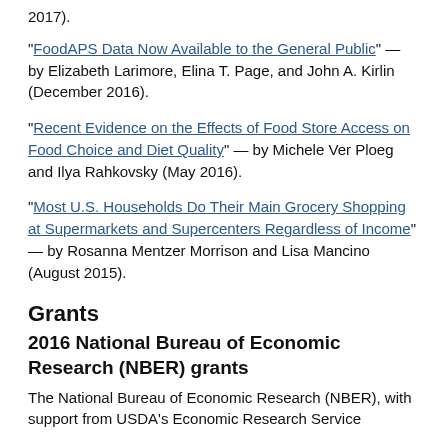2017).
"FoodAPS Data Now Available to the General Public" — by Elizabeth Larimore, Elina T. Page, and John A. Kirlin (December 2016).
"Recent Evidence on the Effects of Food Store Access on Food Choice and Diet Quality" — by Michele Ver Ploeg and Ilya Rahkovsky (May 2016).
"Most U.S. Households Do Their Main Grocery Shopping at Supermarkets and Supercenters Regardless of Income" — by Rosanna Mentzer Morrison and Lisa Mancino (August 2015).
Grants
2016 National Bureau of Economic Research (NBER) grants
The National Bureau of Economic Research (NBER), with support from USDA's Economic Research Service